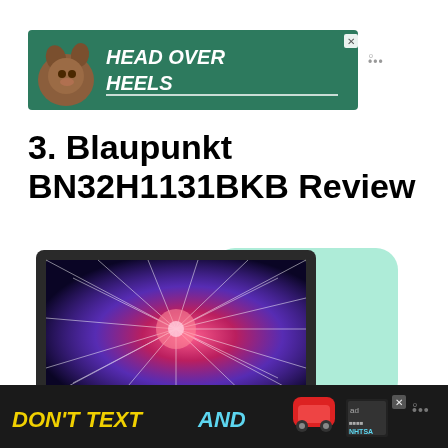[Figure (screenshot): Advertisement banner with green background featuring a cartoon dog and text 'HEAD OVER HEELS' in white bold letters, with a close (X) button in the top right corner and Moat logo to the right.]
3. Blaupunkt BN32H1131BKB Review
[Figure (photo): A Blaupunkt TV showing a colorful star burst / galaxy wallpaper on its screen, displayed at an angle with a dark frame. A mint/teal green rounded rectangle shape appears behind/beside the TV as a decorative background element.]
[Figure (screenshot): Bottom advertisement banner with dark/black background showing text 'DON'T TEXT AND' in yellow and light blue bold letters, a red car emoji, and NHTSA ad logo. An X close button and Moat logo appear to the right.]